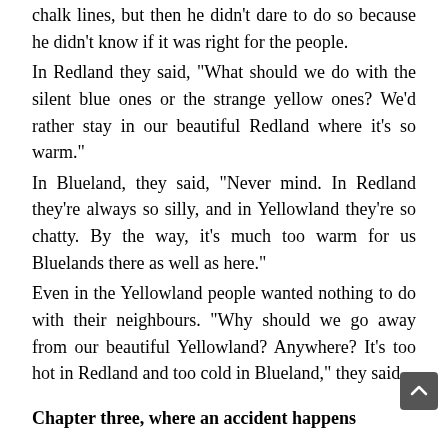chalk lines, but then he didn't dare to do so because he didn't know if it was right for the people.
In Redland they said, "What should we do with the silent blue ones or the strange yellow ones? We'd rather stay in our beautiful Redland where it's so warm."
In Blueland, they said, "Never mind. In Redland they're always so silly, and in Yellowland they're so chatty. By the way, it's much too warm for us Bluelands there as well as here."
Even in the Yellowland people wanted nothing to do with their neighbours. "Why should we go away from our beautiful Yellowland? Anywhere? It's too hot in Redland and too cold in Blueland," they said.
Chapter three, where an accident happens